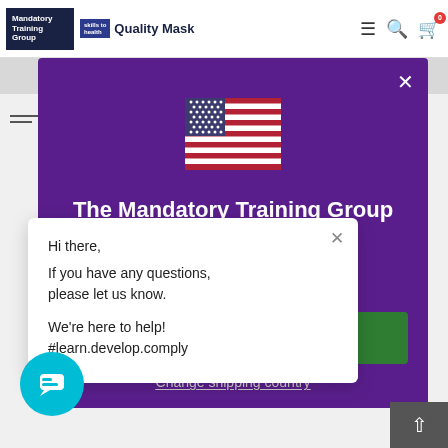[Figure (screenshot): Website screenshot showing Mandatory Training Group and Quality Mask logos in top navigation bar with menu, search, and cart icons]
[Figure (screenshot): Purple modal dialog with US flag, title 'The Mandatory Training Group', subtitle 'United States', green button, and 'Change shipping country' link]
Hi there,
If you have any questions, please let us know.

We're here to help!
#learn.develop.comply